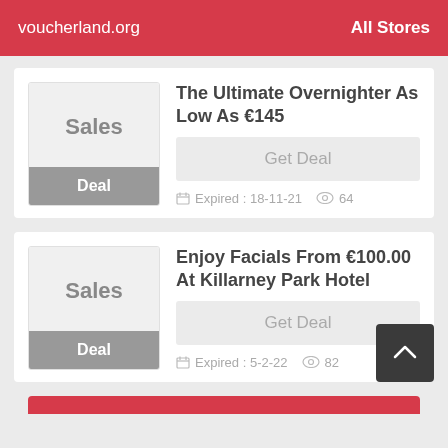voucherland.org   All Stores
The Ultimate Overnighter As Low As €145
Get Deal
Expired : 18-11-21   64
Enjoy Facials From €100.00 At Killarney Park Hotel
Get Deal
Expired : 5-2-22   82